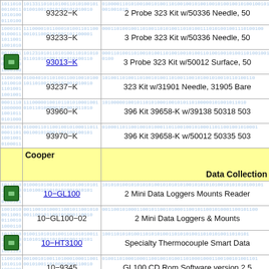| Icon | Part Number | Description |
| --- | --- | --- |
|  | 93232-K | 2 Probe 323 Kit w/50336 Needle, 50... |
|  | 93233-K | 3 Probe 323 Kit w/50336 Needle, 50... |
| [icon] | 93013-K | 3 Probe 323 Kit w/50012 Surface, 50... |
|  | 93237-K | 323 Kit w/31901 Needle, 31905 Bare... |
|  | 93960-K | 396 Kit 39658-K w/39138 50318 503... |
|  | 93970-K | 396 Kit 39658-K w/50012 50335 503... |
| Cooper |  | Data Collection |
| [icon] | 10-GL100 | 2 Mini Data Loggers Mounts Reader... |
|  | 10-GL100-02 | 2 Mini Data Loggers & Mounts |
| [icon] | 10-HT3100 | Specialty Thermocouple Smart Data... |
|  | 10-9345 | GL100 CD Rom Software version 2.5... |
| Atkins Air |  |  |
| [icon] | 50306-K | Oven Probe, SS Ovenbraid with Clip... |